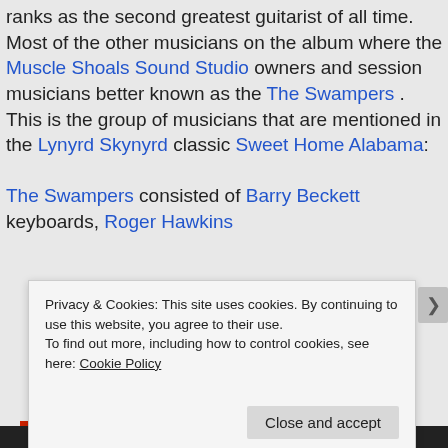ranks as the second greatest guitarist of all time. Most of the other musicians on the album where the Muscle Shoals Sound Studio owners and session musicians better known as the The Swampers . This is the group of musicians that are mentioned in the Lynyrd Skynyrd classic Sweet Home Alabama:
The Swampers consisted of Barry Beckett keyboards, Roger Hawkins
Privacy & Cookies: This site uses cookies. By continuing to use this website, you agree to their use. To find out more, including how to control cookies, see here: Cookie Policy